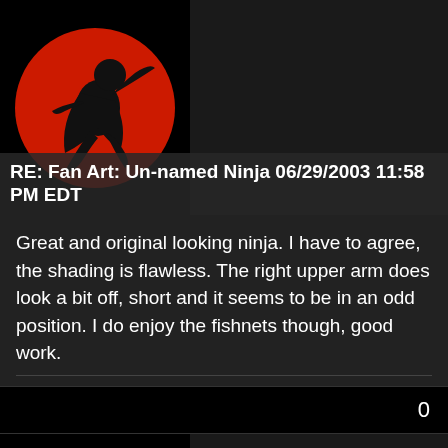[Figure (illustration): Ninja silhouette avatar icon - dark figure running against red circle background]
RE: Fan Art: Un-named Ninja 06/29/2003 11:58 PM EDT
Great and original looking ninja. I have to agree, the shading is flawless. The right upper arm does look a bit off, short and it seems to be in an odd position. I do enjoy the fishnets though, good work.
0
[Figure (illustration): Ninja silhouette avatar icon - dark figure running against red/orange circle background]
RE: Fan Art: Un-named Ninja 06/30/2003 11:24 PM EDT